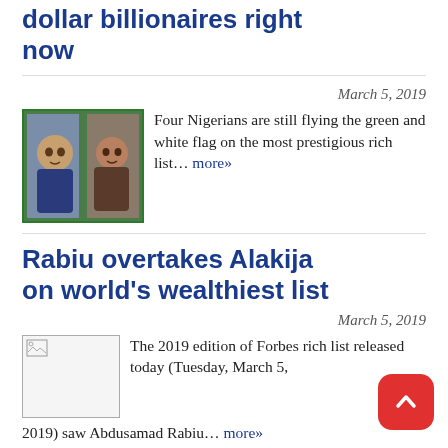Here are the 7 authentic dollar billionaires right now
March 5, 2019
[Figure (photo): Two Nigerian men, headshots side by side with green border]
Four Nigerians are still flying the green and white flag on the most prestigious rich list… more»
Rabiu overtakes Alakija on world's wealthiest list
March 5, 2019
[Figure (photo): Broken image thumbnail]
The 2019 edition of Forbes rich list released today (Tuesday, March 5, 2019) saw Abdusamad Rabiu… more»
'How APC rigged